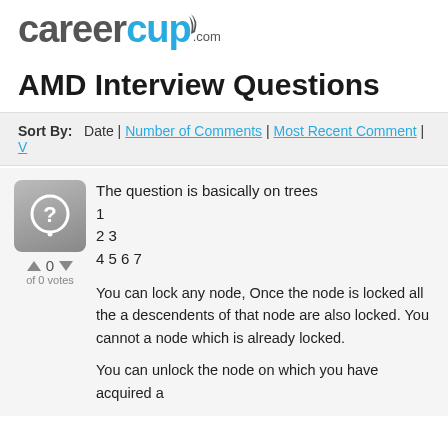careercup.com
AMD Interview Questions
Sort By: Date | Number of Comments | Most Recent Comment | V
The question is basically on trees
1
2 3
4 5 6 7

You can lock any node, Once the node is locked all the a descendents of that node are also locked. You cannot a node which is already locked.

You can unlock the node on which you have acquired a